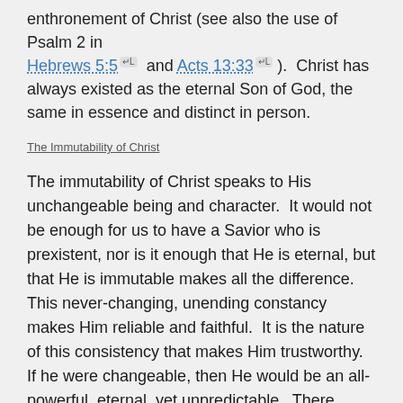enthronement of Christ (see also the use of Psalm 2 in Hebrews 5:5 and Acts 13:33).  Christ has always existed as the eternal Son of God, the same in essence and distinct in person.
The Immutability of Christ
The immutability of Christ speaks to His unchangeable being and character.  It would not be enough for us to have a Savior who is prexistent, nor is it enough that He is eternal, but that He is immutable makes all the difference.  This never-changing, unending constancy makes Him reliable and faithful.  It is the nature of this consistency that makes Him trustworthy.  If he were changeable, then He would be an all-powerful, eternal, yet unpredictable.  There would be no guarantee that He would forgive sins, extend grace, or raise the righteous from the dead.  He could simply change His mind on the